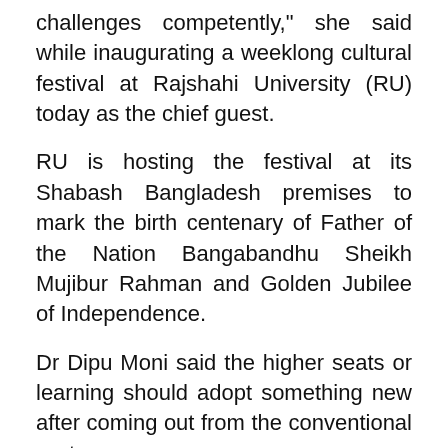challenges competently," she said while inaugurating a weeklong cultural festival at Rajshahi University (RU) today as the chief guest.
RU is hosting the festival at its Shabash Bangladesh premises to mark the birth centenary of Father of the Nation Bangabandhu Sheikh Mujibur Rahman and Golden Jubilee of Independence.
Dr Dipu Moni said the higher seats or learning should adopt something new after coming out from the conventional system.
"Now, we want no more certificate-bearing graduates to get rid the country from the burden of educated unemployment," he